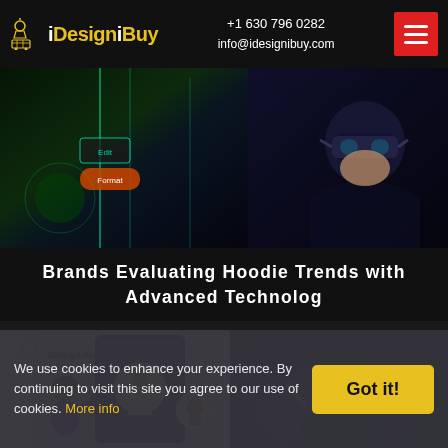iDesigniBuy | +1 630 796 0282 | info@idesignibuy.com
[Figure (photo): Hero banner showing a neon-lit gaming/VR environment on the left and a person wearing a VR headset on the right against a dark background]
Brands Evaluating Hoodie Trends with Advanced Technolog
[Figure (photo): Split image: left side shows iDesigniBuy app screenshot with an animated character using a tablet interface; right side shows a person wearing a VR headset surrounded by purple and blue smoke]
We use cookies to enhance your experience. By continuing to visit this site you agree to our use of cookies. More info